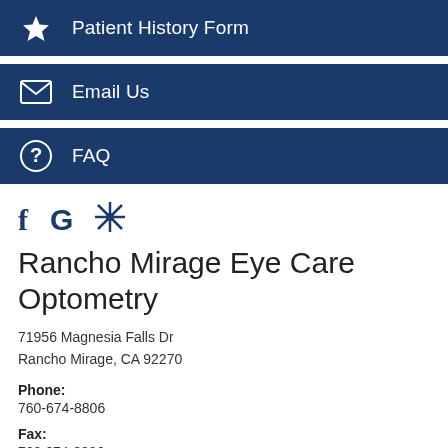Patient History Form
Email Us
FAQ
[Figure (infographic): Social media icons: Facebook (f), Google (G), Yelp (asterisk/flower icon)]
Rancho Mirage Eye Care Optometry
71956 Magnesia Falls Dr
Rancho Mirage, CA 92270
Phone:
760-674-8806
Fax:
760 674-8826
Email: